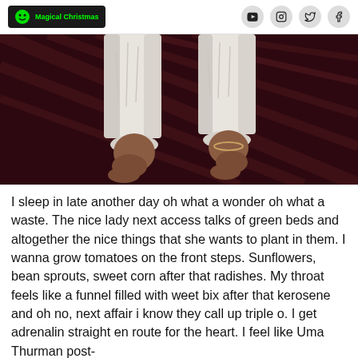Magical Christmas [logo with social icons: YouTube, Instagram, Twitter, Facebook]
[Figure (photo): Downward view of a person's legs and bare feet wearing loose white trousers, standing on a dark reddish-brown wooden floor, photo has a dark sepia/maroon tint]
I sleep in late another day oh what a wonder oh what a waste. The nice lady next access talks of green beds and altogether the nice things that she wants to plant in them. I wanna grow tomatoes on the front steps. Sunflowers, bean sprouts, sweet corn after that radishes. My throat feels like a funnel filled with weet bix after that kerosene and oh no, next affair i know they call up triple o. I get adrenalin straight en route for the heart. I feel like Uma Thurman post-